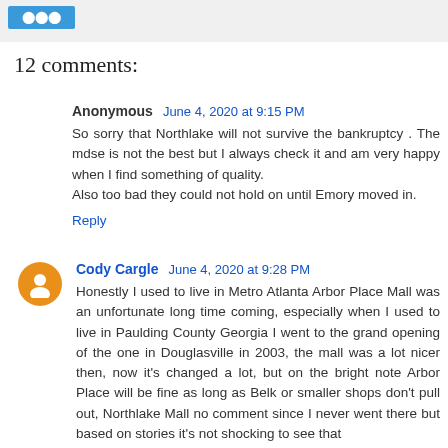12 comments:
Anonymous  June 4, 2020 at 9:15 PM
So sorry that Northlake will not survive the bankruptcy . The mdse is not the best but I always check it and am very happy when I find something of quality.
Also too bad they could not hold on until Emory moved in.
Reply
Cody Cargle  June 4, 2020 at 9:28 PM
Honestly I used to live in Metro Atlanta Arbor Place Mall was an unfortunate long time coming, especially when I used to live in Paulding County Georgia I went to the grand opening of the one in Douglasville in 2003, the mall was a lot nicer then, now it’s changed a lot, but on the bright note Arbor Place will be fine as long as Belk or smaller shops don’t pull out, Northlake Mall no comment since I never went there but based on stories it’s not shocking to see that